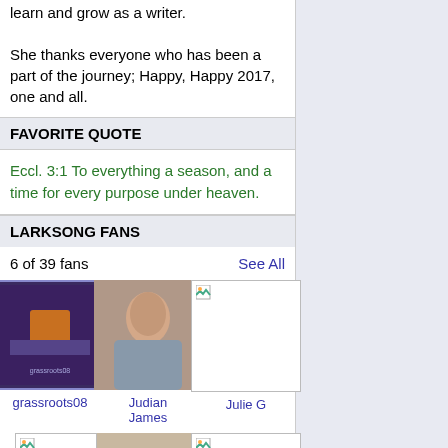learn and grow as a writer. She thanks everyone who has been a part of the journey; Happy, Happy 2017, one and all.
FAVORITE QUOTE
Eccl. 3:1 To everything a season, and a time for every purpose under heaven.
LARKSONG FANS
6 of 39 fans   See All
[Figure (photo): grassroots08 fan profile picture - decorative image with dark tones]
grassroots08
[Figure (photo): Judian James fan profile picture - person leaning on surface]
Judian James
[Figure (photo): Julie G fan profile picture - broken image placeholder]
Julie G
[Figure (photo): Martie fan profile picture - broken image placeholder]
Martie
[Figure (photo): EllenV fan profile picture - couple photo]
EllenV
[Figure (photo): Jer4Clarity fan profile picture - broken image placeholder]
Jer4Clarity
LARKSONG IS FOLLOWING
6 of 16 writers   See All